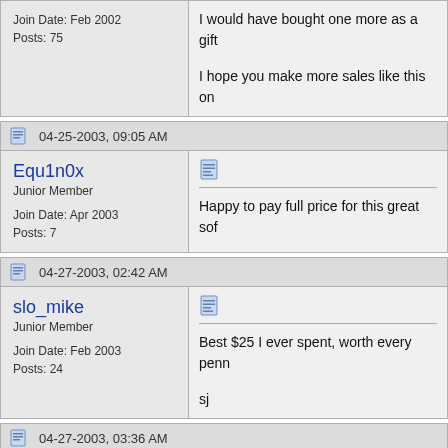Join Date: Feb 2002
Posts: 75
I would have bought one more as a gift
I hope you make more sales like this on
04-25-2003, 09:05 AM
Equ1n0x
Junior Member
Join Date: Apr 2003
Posts: 7
Happy to pay full price for this great sof
04-27-2003, 02:42 AM
slo_mike
Junior Member
Join Date: Feb 2003
Posts: 24
Best $25 I ever spent, worth every penn
sj
04-27-2003, 03:36 AM